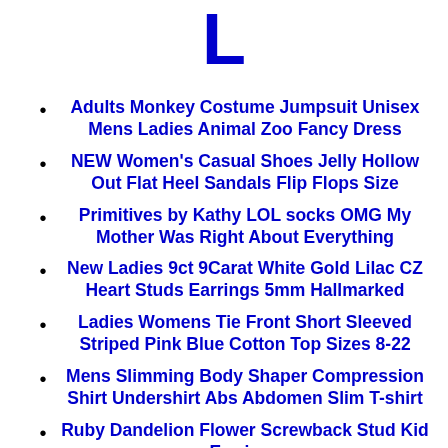L
Adults Monkey Costume Jumpsuit Unisex Mens Ladies Animal Zoo Fancy Dress
NEW Women's Casual Shoes Jelly Hollow Out Flat Heel Sandals Flip Flops Size
Primitives by Kathy LOL socks OMG My Mother Was Right About Everything
New Ladies 9ct 9Carat White Gold Lilac CZ Heart Studs Earrings 5mm Hallmarked
Ladies Womens Tie Front Short Sleeved Striped Pink Blue Cotton Top Sizes 8-22
Mens Slimming Body Shaper Compression Shirt Undershirt Abs Abdomen Slim T-shirt
Ruby Dandelion Flower Screwback Stud Kid Earrings